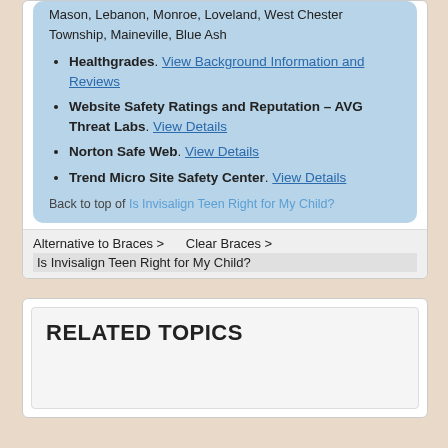Mason, Lebanon, Monroe, Loveland, West Chester Township, Maineville, Blue Ash
Healthgrades. View Background Information and Reviews
Website Safety Ratings and Reputation – AVG Threat Labs. View Details
Norton Safe Web. View Details
Trend Micro Site Safety Center. View Details
Back to top of Is Invisalign Teen Right for My Child?
Alternative to Braces >    Clear Braces >
Is Invisalign Teen Right for My Child?
RELATED TOPICS